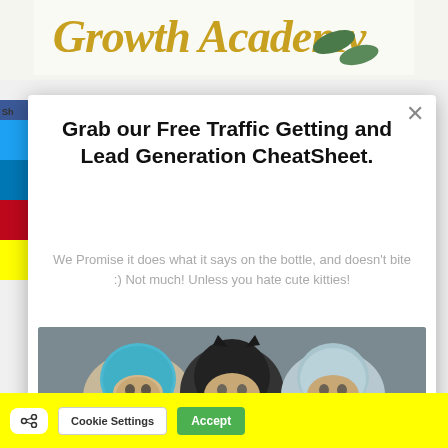[Figure (screenshot): Growth Academy banner at the top of the page with golden/amber italic script text and green capsule shapes on the right]
Grab our Free Traffic Getting and Lead Generation CheatSheet.
We Promise it does what it says on the bottle, and doesn't bite :) Not much! Unless you hate cute kitties!
[Figure (photo): Three cute cats wearing colorful knitted hats/hoods — one in blue, one in black, one in light blue/striped — sitting side by side]
Cookie Settings
Accept